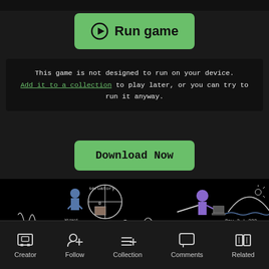[Figure (other): Green 'Run game' button with play icon]
This game is not designed to run on your device. Add it to a collection to play later, or you can try to run it anyway.
[Figure (other): Green 'Download Now' button]
[Figure (screenshot): Game screenshot showing pixel art characters in a dark scene with dialogue text 'Come inside, quick, it's freezing out.' and a radio display showing 'FA HA' with 'Day 2 | ???']
Creator   Follow   Collection   Comments   Related